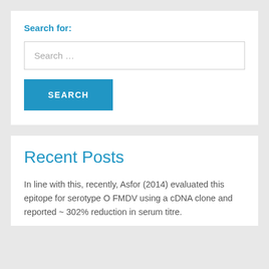Search for:
Search …
SEARCH
Recent Posts
In line with this, recently, Asfor (2014) evaluated this epitope for serotype O FMDV using a cDNA clone and reported ~ 302% reduction in serum titre.